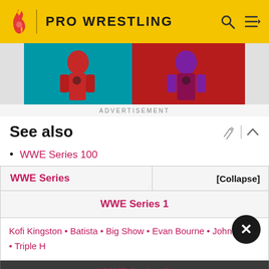PRO WRESTLING
[Figure (photo): Advertisement banner with action figure imagery on teal/red background]
ADVERTISEMENT
See also
WWE Series 100
| WWE Series | [Collapse] |
| --- | --- |
| WWE Series 1 |  |
| Kofi Kingston • Batista • Big Show • Evan Bourne • John Cena • Triple H |  |
| WWE Series 2 |  |
| CM Punk • Jack Swagger • Kane • Mark Henry • Rey Mysterio • Vladimir Kozlov |  |